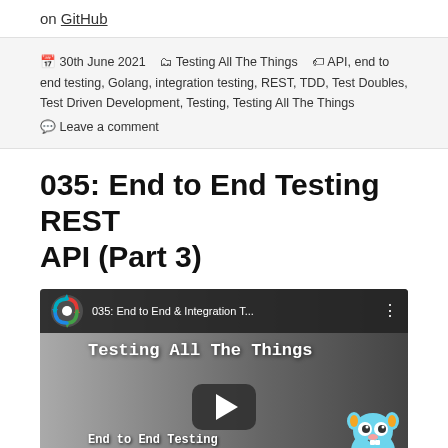on GitHub
📅 30th June 2021   🗂 Testing All The Things   🏷 API, end to end testing, Golang, integration testing, REST, TDD, Test Doubles, Test Driven Development, Testing, Testing All The Things
💬 Leave a comment
035: End to End Testing REST API (Part 3)
[Figure (screenshot): YouTube video thumbnail for '035: End to End & Integration T...' from the Testing All The Things channel, showing a play button and the Golang gopher mascot, with text 'End to End Testing REST API (Part 3)']